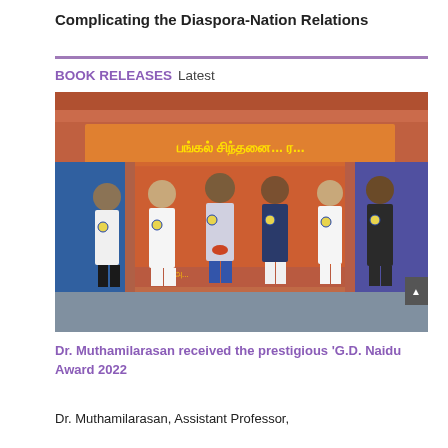Complicating the Diaspora-Nation Relations
BOOK RELEASES Latest
[Figure (photo): Group photo of six people on a stage at an event with Tamil text banner in the background. A person in the center is receiving an award (trophy) from another individual. Others are standing around them. The event appears to be a book release or award ceremony.]
Dr. Muthamilarasan received the prestigious 'G.D. Naidu Award 2022
Dr. Muthamilarasan, Assistant Professor,